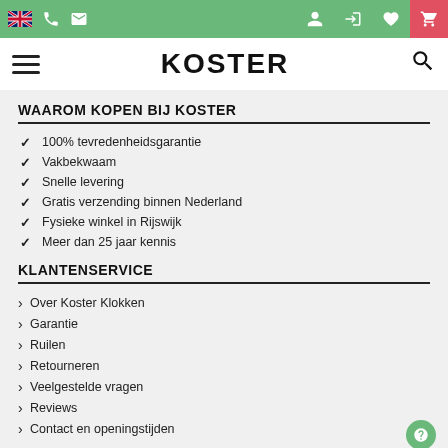Koster website header with navigation bar (flag, phone, email icons) and logo bar with hamburger menu, KOSTER logo, and search icon
WAAROM KOPEN BIJ KOSTER
100% tevredenheidsgarantie
Vakbekwaam
Snelle levering
Gratis verzending binnen Nederland
Fysieke winkel in Rijswijk
Meer dan 25 jaar kennis
KLANTENSERVICE
Over Koster Klokken
Garantie
Ruilen
Retourneren
Veelgestelde vragen
Reviews
Contact en openingstijden